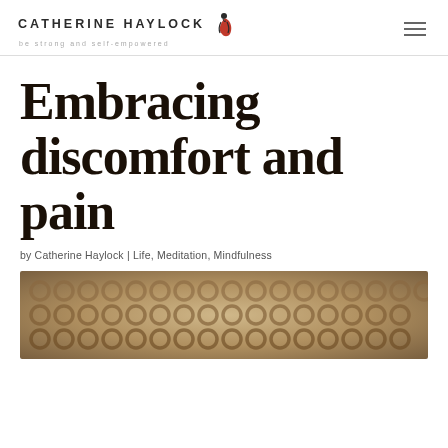CATHERINE HAYLOCK — be strong and self-empowered
Embracing discomfort and pain
by Catherine Haylock | Life, Meditation, Mindfulness
[Figure (photo): Close-up textured surface showing a woven or knotted fabric/natural material in warm beige and brown tones]